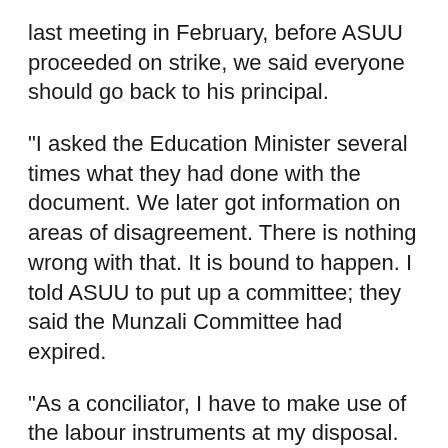last meeting in February, before ASUU proceeded on strike, we said everyone should go back to his principal.
“I asked the Education Minister several times what they had done with the document. We later got information on areas of disagreement. There is nothing wrong with that. It is bound to happen. I told ASUU to put up a committee; they said the Munzali Committee had expired.
“As a conciliator, I have to make use of the labour instruments at my disposal. The bosses in the Federal Ministry of Education do not feel the strike. There are things that are above me.
“I am not the Minister of Education. I cannot go to the Education Minister and dictate to him how to run his place. But I told ASUU that they should be bombarding the Federal Ministry of Education for this to be moved forward.